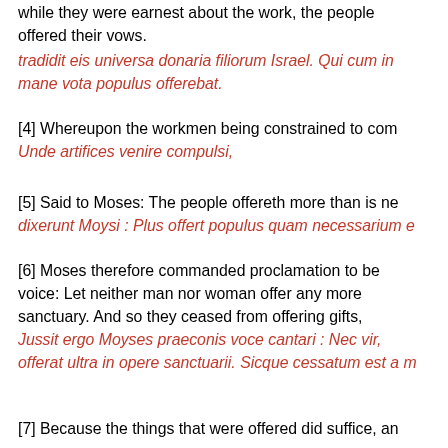while they were earnest about the work, the people offered their vows.
tradidit eis universa donaria filiorum Israel. Qui cum in mane vota populus offerebat.
[4] Whereupon the workmen being constrained to com Unde artifices venire compulsi,
[5] Said to Moses: The people offereth more than is ne dixerunt Moysi : Plus offert populus quam necessarium e
[6] Moses therefore commanded proclamation to be voice: Let neither man nor woman offer any more sanctuary. And so they ceased from offering gifts, Jussit ergo Moyses praeconis voce cantari : Nec vir, offerat ultra in opere sanctuarii. Sicque cessatum est a m
[7] Because the things that were offered did suffice, an